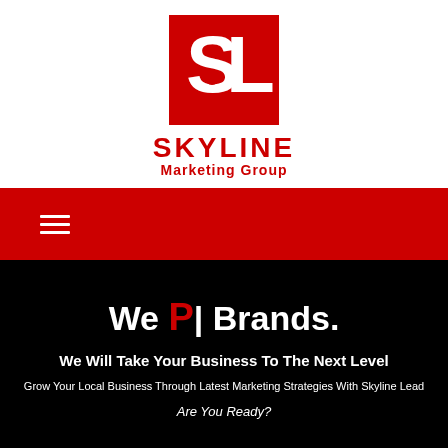[Figure (logo): Skyline Marketing Group logo with red S and L letters on white background, with company name below]
We P| Brands.
We Will Take Your Business To The Next Level
Grow Your Local Business Through Latest Marketing Strategies With Skyline Lead
Are You Ready?